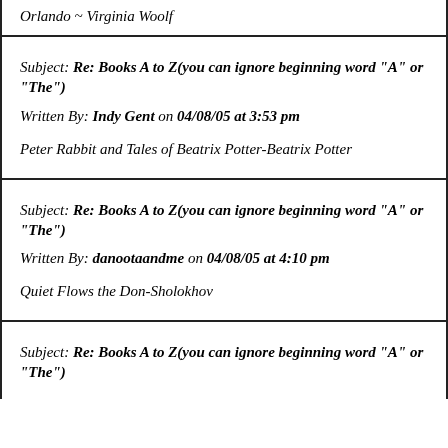Orlando ~ Virginia Woolf
Subject: Re: Books A to Z(you can ignore beginning word "A" or "The")
Written By: Indy Gent on 04/08/05 at 3:53 pm
Peter Rabbit and Tales of Beatrix Potter-Beatrix Potter
Subject: Re: Books A to Z(you can ignore beginning word "A" or "The")
Written By: danootaandme on 04/08/05 at 4:10 pm
Quiet Flows the Don-Sholokhov
Subject: Re: Books A to Z(you can ignore beginning word "A" or "The")